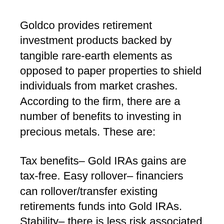Goldco provides retirement investment products backed by tangible rare-earth elements as opposed to paper properties to shield individuals from market crashes. According to the firm, there are a number of benefits to investing in precious metals. These are:
Tax benefits– Gold IRAs gains are tax-free. Easy rollover– financiers can rollover/transfer existing retirements funds into Gold IRAs. Stability– there is less risk associated with precious metals considering that the worth appreciates minimally every time. Diversification– gold financial investments shield your money from currency threat,